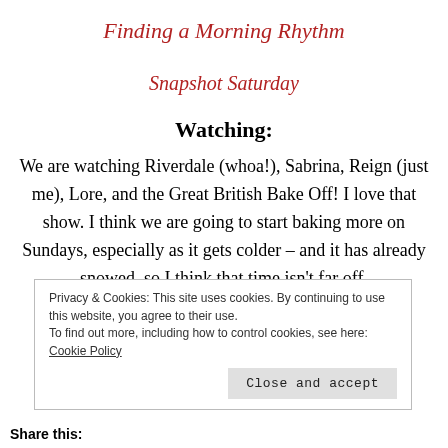Finding a Morning Rhythm
Snapshot Saturday
Watching:
We are watching Riverdale (whoa!), Sabrina, Reign (just me), Lore, and the Great British Bake Off! I love that show. I think we are going to start baking more on Sundays, especially as it gets colder – and it has already snowed. so I think that time isn't far off.
Privacy & Cookies: This site uses cookies. By continuing to use this website, you agree to their use.
To find out more, including how to control cookies, see here: Cookie Policy
Close and accept
Share this: